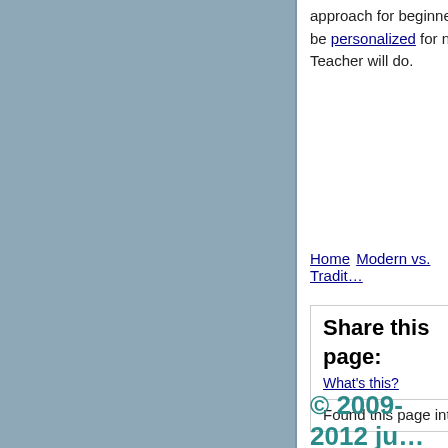approach for beginner student of Martial or Figh… be personalized for needs and physical skills o… Teacher will do.
Home Modern vs. Tradit…
Share this page:
What's this?
Found this page interesting? Spre…
© 2009-2012 judo-for-
© 2009-2012 ju…